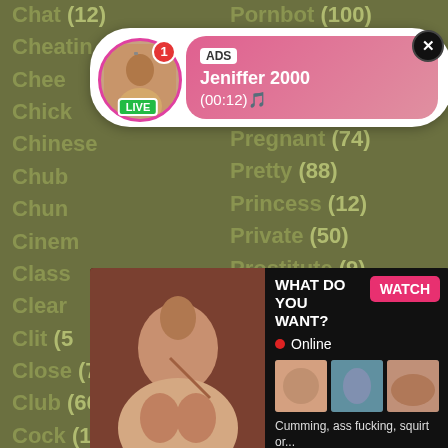Chat (12)
Pornbot (100)
Cheating
Cheerleader
Chick
Chinese
Chub
Pool (18)
Chunky
Pornstar (550)
Cinema
Pregnant (74)
Classic
Pretty (88)
Clean
Princess (12)
Clit (5
Close (733)
Private (50)
Club (66)
Prostitute (9)
Cock (1673)
Coed (38)
Collar (3)
College (135)
Compilation (330)
[Figure (advertisement): Live cam advertisement popup with avatar circle showing LIVE badge, pink gradient content box with ADS label, name Jeniffer 2000, time (00:12), and close X button]
[Figure (advertisement): Black popup ad with explicit image on left, WHAT DO YOU WANT? title, WATCH button, Online indicator, thumbnail images, text Cumming, ass fucking, squirt or... ADS label, and X close button]